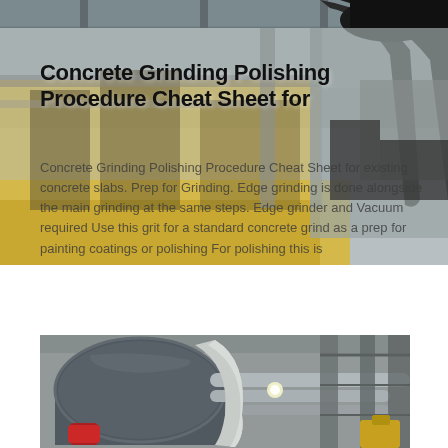[Figure (photo): Industrial facility interior showing large machinery, conveyor systems, pipes and ductwork in a factory/plant setting with yellow floor]
Concrete Grinding Polishing Procedure Cheat Sheet for
Concrete Grinding Polishing Procedure Cheat Sheet for existing concrete slabs. Prep for Grinding. Edge grinding is done alongside the main grinding at the same steps. Edge grinder and Vacuum required Use this grit for a standard concrete grind as a prep for painting coatings or polishing For polishing this is
[Figure (photo): Industrial facility showing a large cylindrical vessel or tank with pipes and structural steel framework, indoor industrial plant setting]